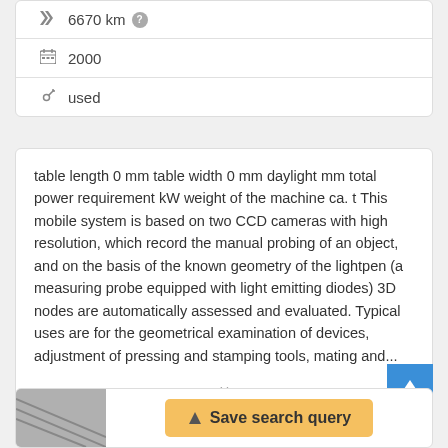6670 km
2000
used
table length 0 mm table width 0 mm daylight mm total power requirement kW weight of the machine ca. t This mobile system is based on two CCD cameras with high resolution, which record the manual probing of an object, and on the basis of the known geometry of the lightpen (a measuring probe equipped with light emitting diodes) 3D nodes are automatically assessed and evaluated. Typical uses are for the geometrical examination of devices, adjustment of pressing and stamping tools, mating and...
Save search query